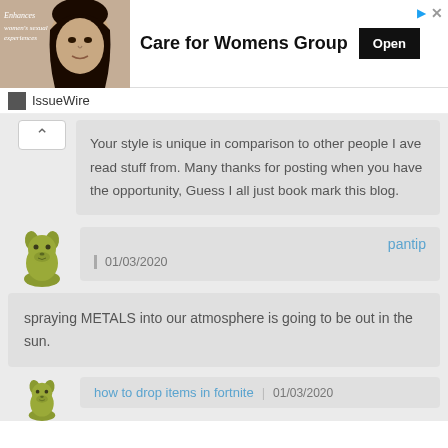[Figure (photo): Advertisement banner for 'Care for Womens Group' with woman's face on left, bold text in center, and Open button on right]
IssueWire
Your style is unique in comparison to other people I ave read stuff from. Many thanks for posting when you have the opportunity, Guess I all just book mark this blog.
pantip
01/03/2020
spraying METALS into our atmosphere is going to be out in the sun.
how to drop items in fortnite | 01/03/2020